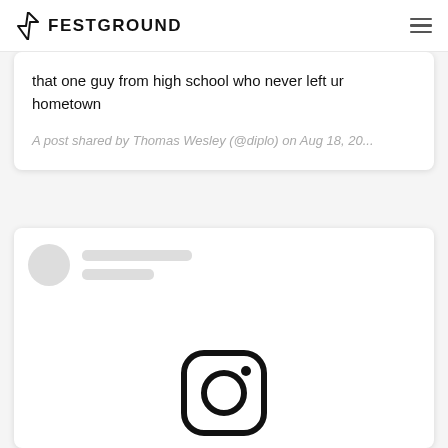FESTGROUND
that one guy from high school who never left ur hometown
A post shared by Thomas Wesley (@diplo) on Aug 18, 20...
[Figure (screenshot): Loading Instagram embed placeholder with avatar circle and two gray skeleton lines for name]